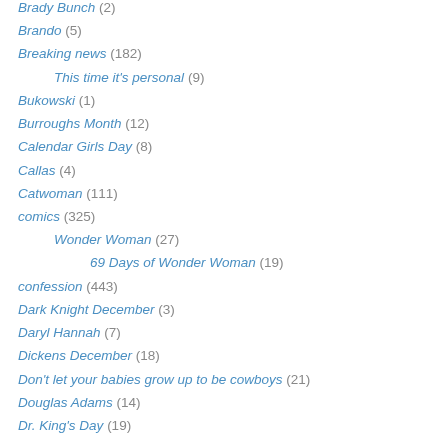Brady Bunch (2)
Brando (5)
Breaking news (182)
This time it's personal (9)
Bukowski (1)
Burroughs Month (12)
Calendar Girls Day (8)
Callas (4)
Catwoman (111)
comics (325)
Wonder Woman (27)
69 Days of Wonder Woman (19)
confession (443)
Dark Knight December (3)
Daryl Hannah (7)
Dickens December (18)
Don't let your babies grow up to be cowboys (21)
Douglas Adams (14)
Dr. King's Day (19)